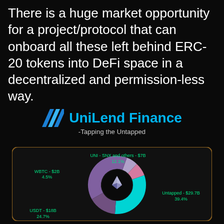There is a huge market opportunity for a project/protocol that can onboard all these left behind ERC-20 tokens into DeFi space in a decentralized and permission-less way.
[Figure (logo): UniLend Finance logo with blue parallelogram icon and tagline '-Tapping the Untapped']
[Figure (donut-chart): ERC-20 DeFi Market Distribution]